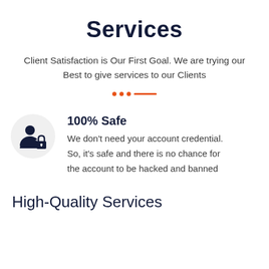Services
Client Satisfaction is Our First Goal. We are trying our Best to give services to our Clients
[Figure (illustration): Orange decorative divider with three dots and a horizontal dash line]
[Figure (illustration): Dark navy icon of a person with a lock/shield, inside a light gray circle]
100% Safe
We don't need your account credential. So, it's safe and there is no chance for the account to be hacked and banned
High-Quality Services